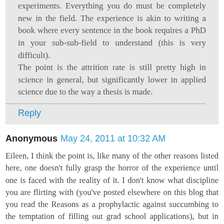experiments. Everything you do must be completely new in the field. The experience is akin to writing a book where every sentence in the book requires a PhD in your sub-sub-field to understand (this is very difficult).

The point is the attrition rate is still pretty high in science in general, but significantly lower in applied science due to the way a thesis is made.
Reply
Anonymous  May 24, 2011 at 10:32 AM
Eileen, I think the point is, like many of the other reasons listed here, one doesn't fully grasp the horror of the experience until one is faced with the reality of it. I don't know what discipline you are flirting with (you've posted elsewhere on this blog that you read the Reasons as a prophylactic against succumbing to the temptation of filling out grad school applications), but in social psych there is a field of research on "affective forecasting" or colloquially